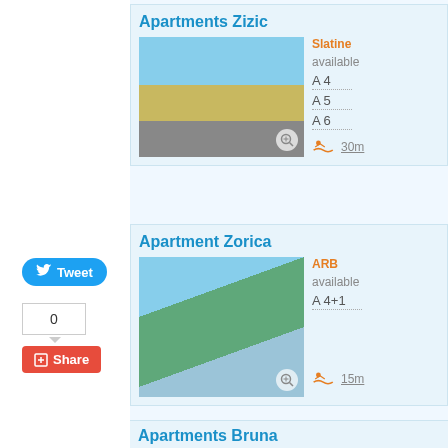Apartments Zizic
Slatine
available
A 4
A 5
A 6
30m
Apartment Zorica
ARB
available
A 4+1
15m
Apartments Bruna
[Figure (other): Tweet button with Twitter bird icon]
0
[Figure (other): Share button with red background]